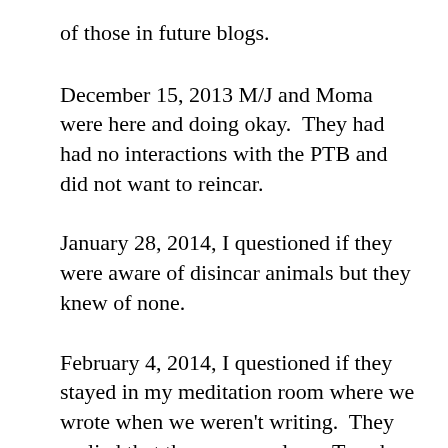of those in future blogs.
December 15, 2013 M/J and Moma were here and doing okay.  They had had no interactions with the PTB and did not want to reincar.
January 28, 2014, I questioned if they were aware of disincar animals but they knew of none.
February 4, 2014, I questioned if they stayed in my meditation room where we wrote when we weren't writing.  They replied that they came only on Tuesday and Thursday evenings when we wrote